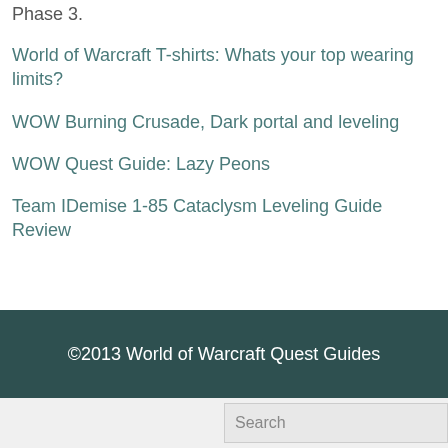Phase 3.
World of Warcraft T-shirts: Whats your top wearing limits?
WOW Burning Crusade, Dark portal and leveling
WOW Quest Guide: Lazy Peons
Team IDemise 1-85 Cataclysm Leveling Guide Review
©2013 World of Warcraft Quest Guides
Search